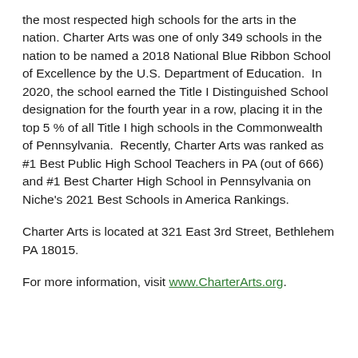the most respected high schools for the arts in the nation. Charter Arts was one of only 349 schools in the nation to be named a 2018 National Blue Ribbon School of Excellence by the U.S. Department of Education.  In 2020, the school earned the Title I Distinguished School designation for the fourth year in a row, placing it in the top 5 % of all Title I high schools in the Commonwealth of Pennsylvania.  Recently, Charter Arts was ranked as #1 Best Public High School Teachers in PA (out of 666) and #1 Best Charter High School in Pennsylvania on Niche's 2021 Best Schools in America Rankings.
Charter Arts is located at 321 East 3rd Street, Bethlehem PA 18015.
For more information, visit www.CharterArts.org.